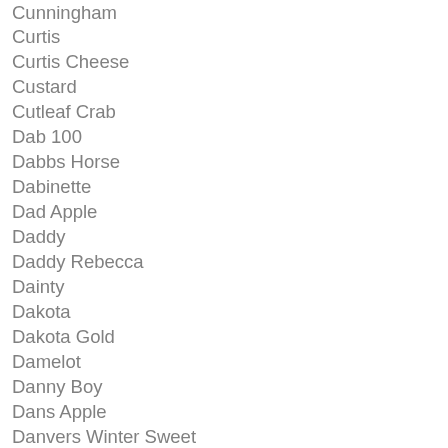Cunningham
Curtis
Curtis Cheese
Custard
Cutleaf Crab
Dab 100
Dabbs Horse
Dabinette
Dad Apple
Daddy
Daddy Rebecca
Dainty
Dakota
Dakota Gold
Damelot
Danny Boy
Dans Apple
Danvers Winter Sweet
DArcy Spice
Darlene Chapman
Darnel
Daux Belan
Devonport Beaut